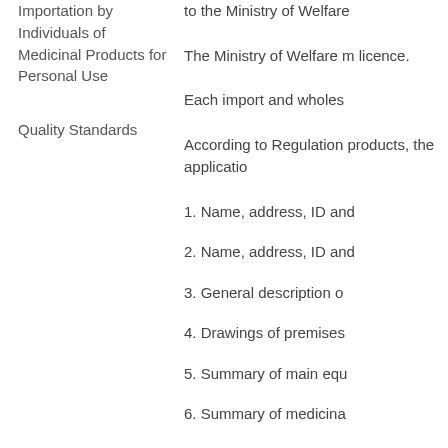Importation by Individuals of Medicinal Products for Personal Use
Quality Standards
to the Ministry of Welfare
The Ministry of Welfare m licence.
Each import and wholes
According to Regulation products, the applicatio
1. Name, address, ID and
2. Name, address, ID and
3. General description o
4. Drawings of premises
5. Summary of main equ
6. Summary of medicina